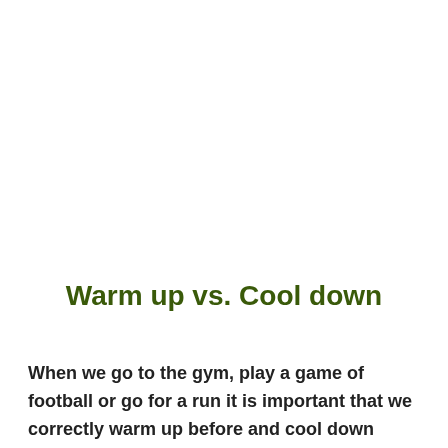Warm up vs. Cool down
When we go to the gym, play a game of football or go for a run it is important that we correctly warm up before and cool down afterwards. By doing this we can